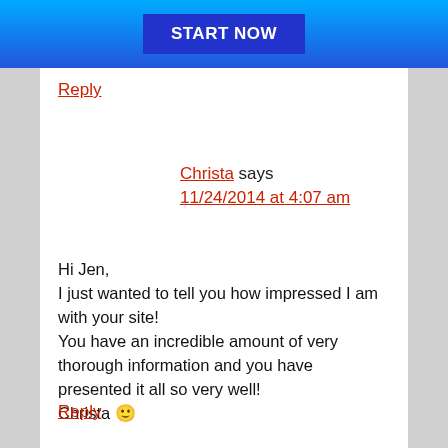START NOW
Reply
Christa says
11/24/2014 at 4:07 am
Hi Jen,
I just wanted to tell you how impressed I am with your site!
You have an incredible amount of very thorough information and you have presented it all so very well!
Christa 🙂
Reply